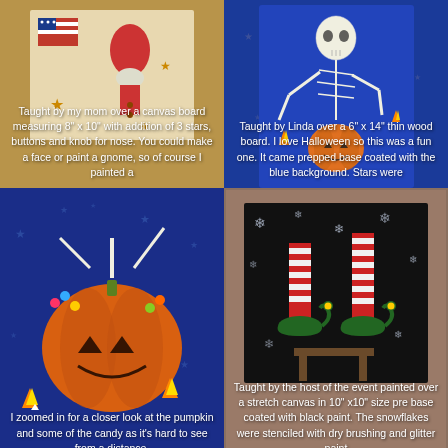[Figure (photo): Top-left: Painted gnome on canvas board with stars and American flag motif, warm wood background. Text overlay describes project details.]
Taught by my mom over a canvas board measuring 8" x 10" with addition of 3 stars, buttons and knob for nose. You could make a face or paint a gnome, so of course I painted a
[Figure (photo): Top-right: Skeleton Halloween painting on blue background thin wood board with stars.]
Taught by Linda over a 6" x 14" thin wood board. I love Halloween so this was a fun one. It came prepped base coated with the blue background. Stars were
[Figure (photo): Bottom-left: Close-up zoomed view of skeleton holding pumpkin with candy, painted on blue background.]
I zoomed in for a closer look at the pumpkin and some of the candy as it's hard to see from a distance.
[Figure (photo): Bottom-right: Elf feet sticking up canvas painting with snowflakes on black background, hosted event painting.]
Taught by the host of the event painted over a stretch canvas in 10" x10" size pre base coated with black paint. The snowflakes were stenciled with dry brushing and glitter paint
[Figure (photo): Bottom strip: Wooden board surface with a hanging rope/cord detail at center bottom.]